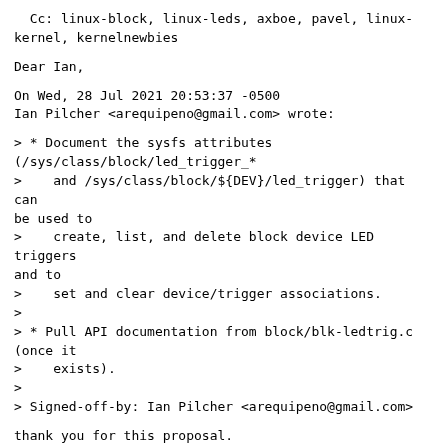Cc: linux-block, linux-leds, axboe, pavel, linux-kernel, kernelnewbies
Dear Ian,
On Wed, 28 Jul 2021 20:53:37 -0500
Ian Pilcher <arequipeno@gmail.com> wrote:
> * Document the sysfs attributes (/sys/class/block/led_trigger_*
>    and /sys/class/block/${DEV}/led_trigger) that can be used to
>    create, list, and delete block device LED triggers and to
>    set and clear device/trigger associations.
>
> * Pull API documentation from block/blk-ledtrig.c (once it
>    exists).
>
> Signed-off-by: Ian Pilcher <arequipeno@gmail.com>
thank you for this proposal.
I don't really see the purpose for having multiple different block
device LED triggers. Moreover we really do not want userspace to be
able to add LED triggers with arbitrary names, and as many as the